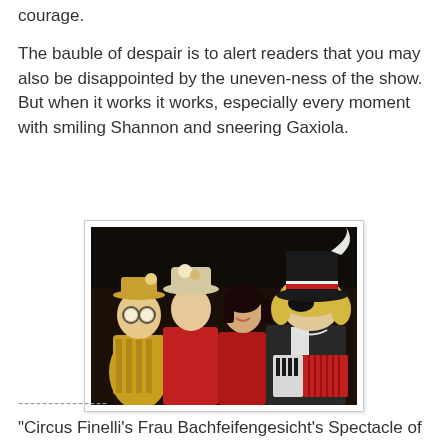courage.
The bauble of despair is to alert readers that you may also be disappointed by the uneven-ness of the show. But when it works it works, especially every moment with smiling Shannon and sneering Gaxiola.
[Figure (photo): Four performers in theatrical/circus costumes posing together. From left: a clown-like figure in a yellow striped outfit with bug-eye glasses and a straw hat; a woman in red outfit with a decorated hat; a smiling dark-haired woman in a red outfit; and a person in a dark military-style jacket wearing an eye patch and a tall dark hat with white feather, holding a red accordion.]
---------------
"Circus Finelli's Frau Bachfeifengesicht's Spectacle of